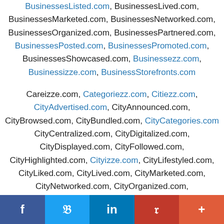BusinessesListed.com, BusinessesLived.com, BusinessesMarketed.com, BusinessesNetworked.com, BusinessesOrganized.com, BusinessesPartnered.com, BusinessesPosted.com, BusinessesPromoted.com, BusinessesShowcased.com, Businessezz.com, Businessizze.com, BusinessStorefronts.com
Careizze.com, Categoriezz.com, Citiezz.com, CityAdvertised.com, CityAnnounced.com, CityBrowsed.com, CityBundled.com, CityCategories.com, CityCentralized.com, CityDigitalized.com, CityDisplayed.com, CityFollowed.com, CityHighlighted.com, Cityizze.com, CityLifestyled.com, CityLiked.com, CityLived.com, CityMarketed.com, CityNetworked.com, CityOrganized.com, CityPartnered.com, CityPosted.com, CityPromoted.com, CityShowcased.com, CityStorefronts.com, Communitiezz.com, Communityizze.com
f  t  in  P  +